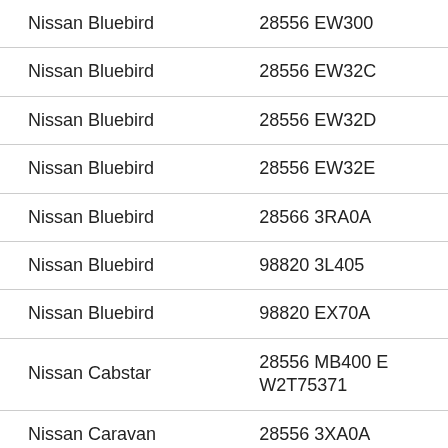| Make/Model | Part Number |
| --- | --- |
| Nissan Bluebird | 28556 EW300 |
| Nissan Bluebird | 28556 EW32C |
| Nissan Bluebird | 28556 EW32D |
| Nissan Bluebird | 28556 EW32E |
| Nissan Bluebird | 28566 3RA0A |
| Nissan Bluebird | 98820 3L405 |
| Nissan Bluebird | 98820 EX70A |
| Nissan Cabstar | 28556 MB400 E W2T75371 |
| Nissan Caravan | 28556 3XA0A |